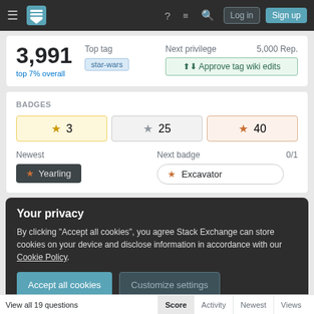[Figure (screenshot): Stack Exchange navigation bar with hamburger menu, logo, help, chat, search icons, Log in and Sign up buttons]
3,991
top 7% overall
Top tag
star-wars
Next privilege
5,000 Rep.
↑↓ Approve tag wiki edits
BADGES
3
25
40
Newest
Yearling
Next badge
0/1
Excavator
Your privacy
By clicking "Accept all cookies", you agree Stack Exchange can store cookies on your device and disclose information in accordance with our Cookie Policy.
Accept all cookies
Customize settings
View all 19 questions
Score  Activity  Newest  Views